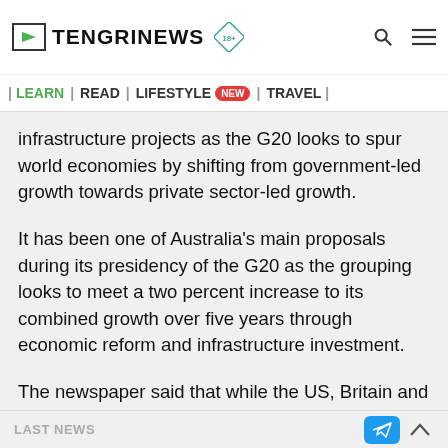TENGRINEWS | LEARN | READ | LIFESTYLE NEW | TRAVEL
infrastructure projects as the G20 looks to spur world economies by shifting from government-led growth towards private sector-led growth.
It has been one of Australia's main proposals during its presidency of the G20 as the grouping looks to meet a two percent increase to its combined growth over five years through economic reform and infrastructure investment.
The newspaper said that while the US, Britain and Japan had thrown their support behind the initiative, questions were raised by India, France and others about the wisdom of setting up a new institution that could overlap with the
LAST NEWS